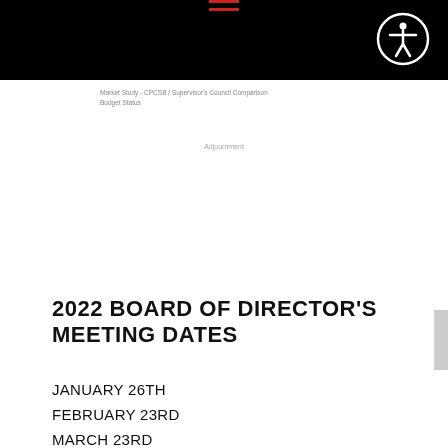[Navigation header with hamburger menu and accessibility icon]
Market Study - CPCSB / Supervisor's Council Comparison
Budget Status
Adjournment
2022 BOARD OF DIRECTOR'S MEETING DATES
JANUARY 26TH
FEBRUARY 23RD
MARCH 23RD